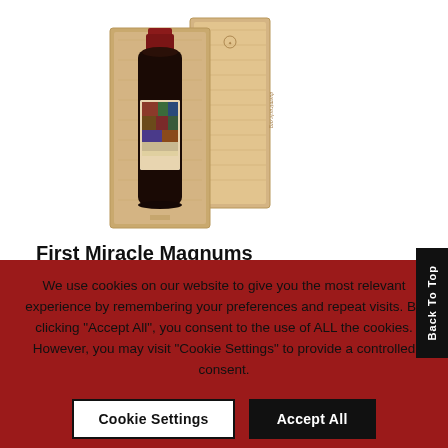[Figure (photo): A wine bottle with colorful label in a wooden gift box with the lid open beside it]
First Miracle Magnums
£1,500.00
We use cookies on our website to give you the most relevant experience by remembering your preferences and repeat visits. By clicking "Accept All", you consent to the use of ALL the cookies. However, you may visit "Cookie Settings" to provide a controlled consent.
Cookie Settings
Accept All
Back To Top